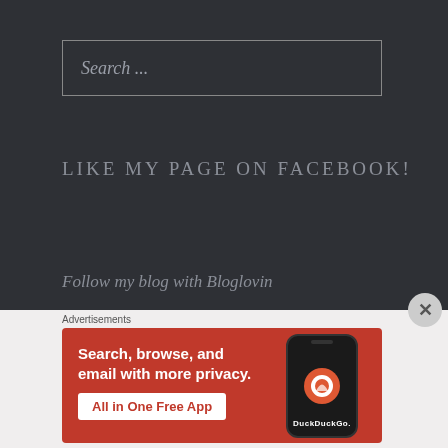Search ...
LIKE MY PAGE ON FACEBOOK!
Follow my blog with Bloglovin
Advertisements
[Figure (screenshot): DuckDuckGo advertisement banner: orange background with text 'Search, browse, and email with more privacy. All in One Free App' with DuckDuckGo logo on a phone mockup on the right side.]